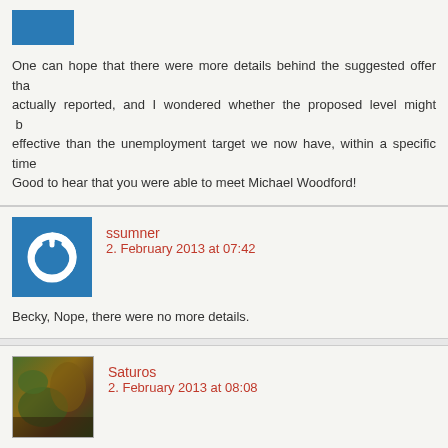One can hope that there were more details behind the suggested offer than actually reported, and I wondered whether the proposed level might be more effective than the unemployment target we now have, within a specific time... Good to hear that you were able to meet Michael Woodford!
ssumner
2. February 2013 at 07:42
Becky, Nope, there were no more details.
Saturos
2. February 2013 at 08:08
“I also had the opportunity to meet Michael Woodford for the first time, and had a nice chat with him.”

TELL US MORE.